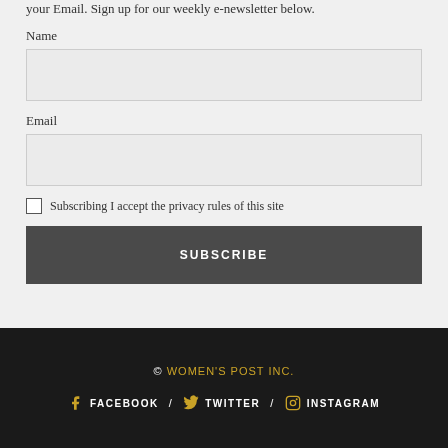your Email. Sign up for our weekly e-newsletter below.
Name
Email
Subscribing I accept the privacy rules of this site
SUBSCRIBE
© WOMEN'S POST INC. / FACEBOOK / TWITTER / INSTAGRAM